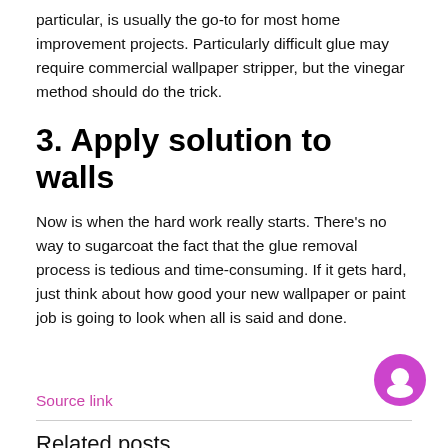particular, is usually the go-to for most home improvement projects. Particularly difficult glue may require commercial wallpaper stripper, but the vinegar method should do the trick.
3. Apply solution to walls
Now is when the hard work really starts. There’s no way to sugarcoat the fact that the glue removal process is tedious and time-consuming. If it gets hard, just think about how good your new wallpaper or paint job is going to look when all is said and done.
Source link
Related posts